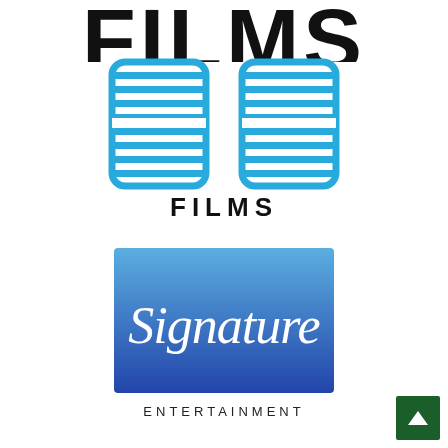[Figure (logo): Partial logo at top of page — large bold black letters partially cropped, appears to read 'FILMS' or similar]
[Figure (logo): 88 Films logo — blue horizontal-striped '88' digits above the word 'FILMS' in black]
[Figure (logo): Signature Entertainment logo — blue-to-purple gradient square with 'Signature' in cursive script and 'ENTERTAINMENT' in spaced black caps below]
[Figure (other): Green back-to-top button in bottom right corner with upward arrow]